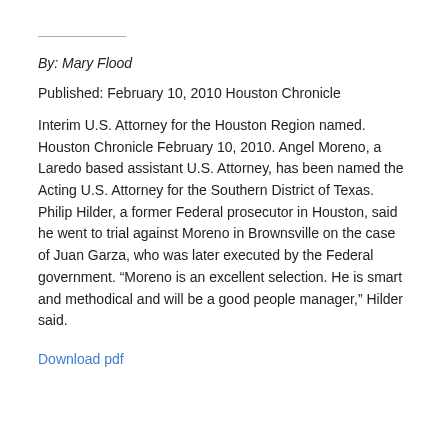By: Mary Flood
Published: February 10, 2010 Houston Chronicle
Interim U.S. Attorney for the Houston Region named. Houston Chronicle February 10, 2010. Angel Moreno, a Laredo based assistant U.S. Attorney, has been named the Acting U.S. Attorney for the Southern District of Texas. Philip Hilder, a former Federal prosecutor in Houston, said he went to trial against Moreno in Brownsville on the case of Juan Garza, who was later executed by the Federal government. “Moreno is an excellent selection. He is smart and methodical and will be a good people manager,” Hilder said.
Download pdf